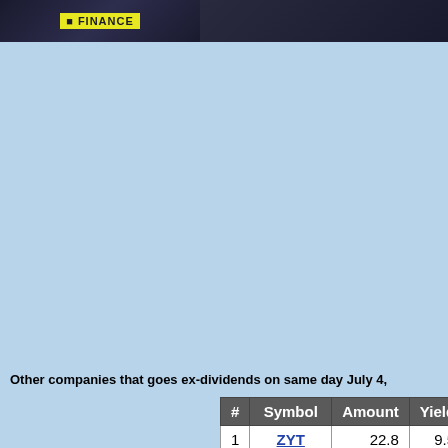[Figure (photo): Dark header banner with logo/branding on dark background, split into two sections]
Other companies that goes ex-dividends on same day July 4,
| # | Symbol | Amount | Yield |
| --- | --- | --- | --- |
| 1 | ZYT | 22.8 | 9.5 |
| 2 | IAG.L | 38.87 | 8.49 |
| 3 | BWNG.L | 7.1 | 6.73 |